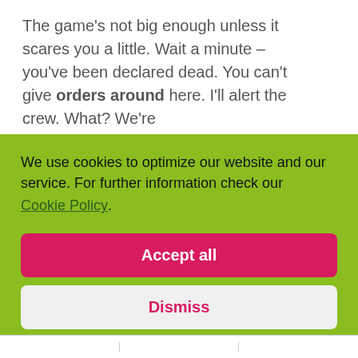The game's not big enough unless it scares you a little. Wait a minute – you've been declared dead. You can't give orders around here. I'll alert the crew. What? We're
We use cookies to optimize our website and our service. For further information check our Cookie Policy
Accept all
Dismiss
Preferences